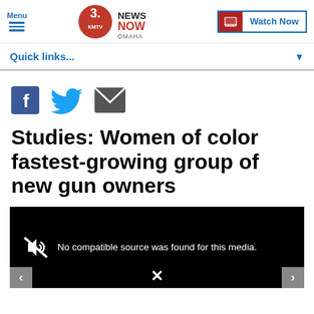Menu | KMTV 3 News Now Omaha | Watch Now
Quick links...
[Figure (other): Social share icons: Facebook, Twitter, Email]
Studies: Women of color fastest-growing group of new gun owners
[Figure (screenshot): Video player showing: No compatible source was found for this media.]